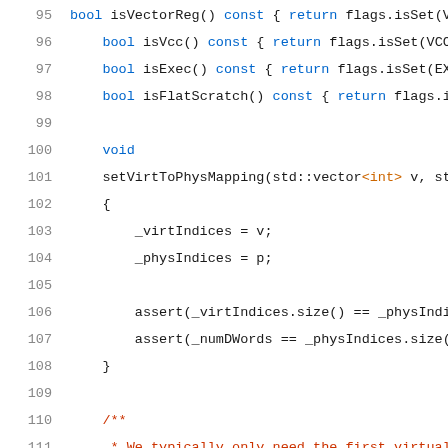Code listing lines 95-116, C++ source code showing class methods including isVcc, isExec, isFlatScratch, setVirtToPhysMapping, assert statements, and virtIdx/physIdx methods.